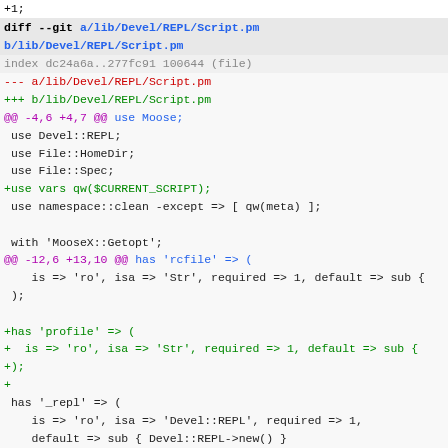+1;
diff --git a/lib/Devel/REPL/Script.pm b/lib/Devel/REPL/Script.pm
index dc24a6a..277fc91 100644 (file)
--- a/lib/Devel/REPL/Script.pm
+++ b/lib/Devel/REPL/Script.pm
@@ -4,6 +4,7 @@ use Moose;
use Devel::REPL;
 use File::HomeDir;
 use File::Spec;
+use vars qw($CURRENT_SCRIPT);
use namespace::clean -except => [ qw(meta) ];
with 'MooseX::Getopt';
@@ -12,6 +13,10 @@ has 'rcfile' => (
is => 'ro', isa => 'Str', required => 1, default => sub {
);
+has 'profile' => (
+  is => 'ro', isa => 'Str', required => 1, default => sub {
+);
+
has '_repl' => (
is => 'ro', isa => 'Devel::REPL', required => 1,
    default => sub { Devel::REPL->new() }
@@ -19,13 +24,19 @@ has '_repl' => (
sub BUILD {
    my ($self) = @_;
-  $self->load_rcfile;
+  $self->load_profile($self->profile);